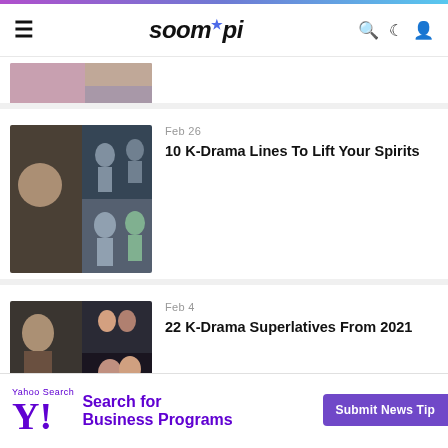soompi
[Figure (photo): Partially visible article thumbnail at top of page]
Feb 26
10 K-Drama Lines To Lift Your Spirits
[Figure (photo): Collage of K-drama scenes featuring actors]
Feb 4
22 K-Drama Superlatives From 2021
[Figure (photo): Collage of K-drama scenes for 2021 superlatives article]
[Figure (screenshot): Yahoo Search advertisement: Search for Business Programs]